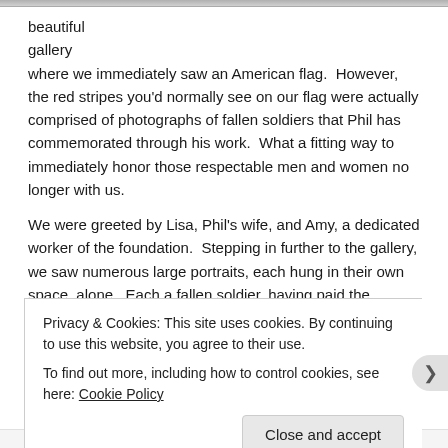[Figure (photo): Top image bar (partial photo cropped at top of page)]
beautiful
gallery
where we immediately saw an American flag.  However, the red stripes you'd normally see on our flag were actually comprised of photographs of fallen soldiers that Phil has commemorated through his work.  What a fitting way to immediately honor those respectable men and women no longer with us.

We were greeted by Lisa, Phil's wife, and Amy, a dedicated worker of the foundation.  Stepping in further to the gallery, we saw numerous large portraits, each hung in their own space, alone.  Each a fallen soldier, having paid the ultimate price for freedom.  Each being granted their space to be remembered and
Privacy & Cookies: This site uses cookies. By continuing to use this website, you agree to their use.
To find out more, including how to control cookies, see here: Cookie Policy
Close and accept
AIRPORT THIS AS